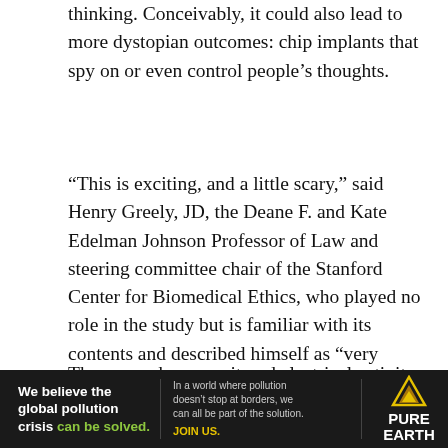thinking. Conceivably, it could also lead to more dystopian outcomes: chip implants that spy on or even control people's thoughts.
“This is exciting, and a little scary,” said Henry Greely, JD, the Deane F. and Kate Edelman Johnson Professor of Law and steering committee chair of the Stanford Center for Biomedical Ethics, who played no role in the study but is familiar with its contents and described himself as “very impressed” by the findings. “It demonstrates, first, that we can see when someone’s dealing with numbers and, second, that we may conceivably someday be able to manipulate the brain to affect how someone deals with numbers.”
The researchers monitored electrical activity in a region of the brain called the intraparietal sulcus, known to be
[Figure (infographic): Pure Earth advertisement banner. Black background. Left section: bold white text reading 'We believe the global pollution crisis' with 'can be solved.' in green. Middle section: smaller gray text reading 'In a world where pollution doesn’t stop at borders, we can all be part of the solution.' with 'JOIN US.' in yellow. Right section: Pure Earth logo (diamond/triangle shape in gold/yellow) with 'PURE EARTH' text in white bold.]